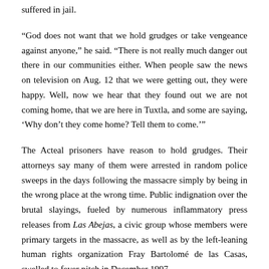suffered in jail.
“God does not want that we hold grudges or take vengeance against anyone,” he said. “There is not really much danger out there in our communities either. When people saw the news on television on Aug. 12 that we were getting out, they were happy. Well, now we hear that they found out we are not coming home, that we are here in Tuxtla, and some are saying, ‘Why don’t they come home? Tell them to come.’”
The Acteal prisoners have reason to hold grudges. Their attorneys say many of them were arrested in random police sweeps in the days following the massacre simply by being in the wrong place at the wrong time. Public indignation over the brutal slayings, fueled by numerous inflammatory press releases from Las Abejas, a civic group whose members were primary targets in the massacre, as well as by the left-leaning human rights organization Fray Bartolomé de las Casas, swelled to fever pitch in December 1997.